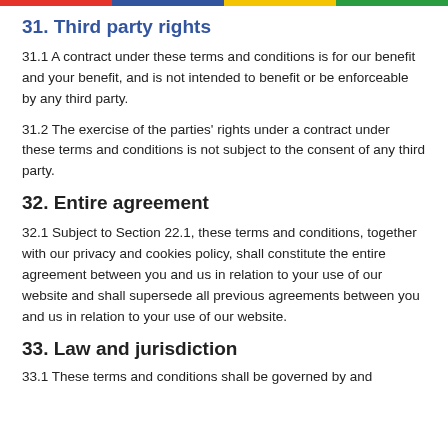31. Third party rights
31.1  A contract under these terms and conditions is for our benefit and your benefit, and is not intended to benefit or be enforceable by any third party.
31.2  The exercise of the parties’ rights under a contract under these terms and conditions is not subject to the consent of any third party.
32. Entire agreement
32.1  Subject to Section 22.1, these terms and conditions, together with our privacy and cookies policy, shall constitute the entire agreement between you and us in relation to your use of our website and shall supersede all previous agreements between you and us in relation to your use of our website.
33. Law and jurisdiction
33.1  These terms and conditions shall be governed by and